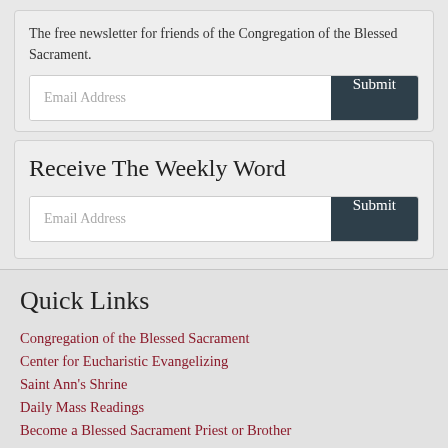The free newsletter for friends of the Congregation of the Blessed Sacrament.
[Figure (screenshot): Email address input field with Submit button]
Receive The Weekly Word
[Figure (screenshot): Email address input field with Submit button]
Quick Links
Congregation of the Blessed Sacrament
Center for Eucharistic Evangelizing
Saint Ann's Shrine
Daily Mass Readings
Become a Blessed Sacrament Priest or Brother